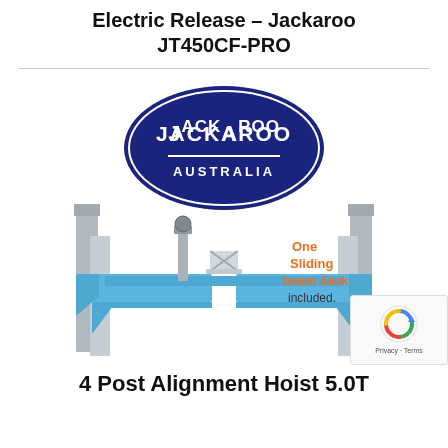Electric Release – Jackaroo JT450CF-PRO
[Figure (photo): Product photo of a Jackaroo Australia 4-post alignment hoist (model JT450CF-PRO) in blue and grey, with the Jackaroo Australia oval logo at the top of the image, and orange text annotation reading 'One Sliding beam Jack included.']
4 Post Alignment Hoist 5.0T